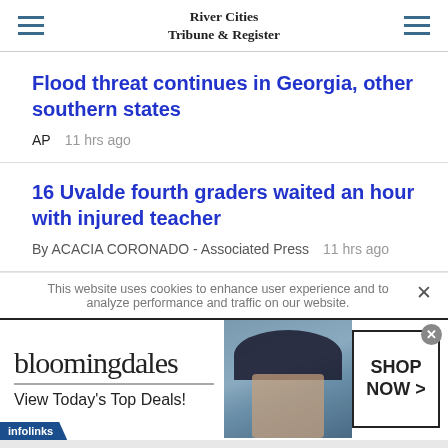River Cities Tribune & Register
Flood threat continues in Georgia, other southern states
AP  11 hrs ago
16 Uvalde fourth graders waited an hour with injured teacher
By ACACIA CORONADO - Associated Press  11 hrs ago
This website uses cookies to enhance user experience and to analyze performance and traffic on our website.
[Figure (screenshot): Bloomingdale's advertisement banner: logo, 'View Today's Top Deals!', woman with wide-brim hat, 'SHOP NOW >' button]